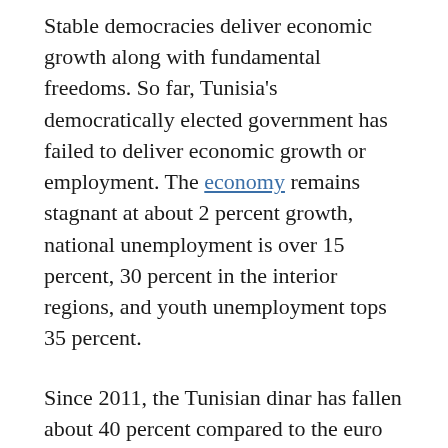Stable democracies deliver economic growth along with fundamental freedoms. So far, Tunisia's democratically elected government has failed to deliver economic growth or employment. The economy remains stagnant at about 2 percent growth, national unemployment is over 15 percent, 30 percent in the interior regions, and youth unemployment tops 35 percent.
Since 2011, the Tunisian dinar has fallen about 40 percent compared to the euro and the dollar, increasing prices for fuel and almost all consumer goods. IRI's 2017 survey found 80 percent of Tunisians think the country is going in the wrong direction, with 64 percent citing the